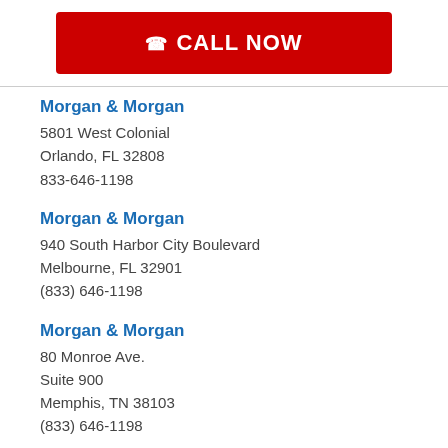CALL NOW
Morgan & Morgan
5801 West Colonial
Orlando, FL 32808
833-646-1198
Morgan & Morgan
940 South Harbor City Boulevard
Melbourne, FL 32901
(833) 646-1198
Morgan & Morgan
80 Monroe Ave.
Suite 900
Memphis, TN 38103
(833) 646-1198
Morgan & Morgan
198 Broadway
Kissimmee, FL 34741
(833) 646-1198